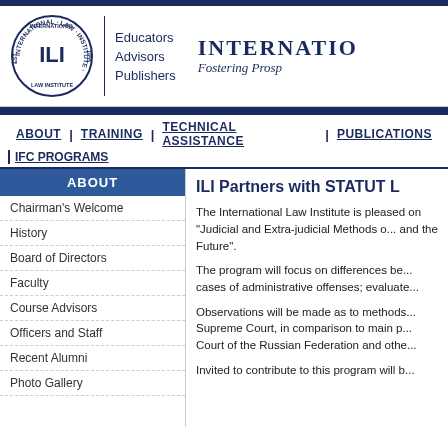[Figure (logo): International Law Institute (ILI) circular logo with EST. 1955, with nav links: Educators, Advisors, Publishers]
INTERNATIO... Fostering Prosp...
ABOUT | TRAINING | TECHNICAL ASSISTANCE | PUBLICATIONS | IFC PROGRAMS
ABOUT
Chairman's Welcome
History
Board of Directors
Faculty
Course Advisors
Officers and Staff
Recent Alumni
Photo Gallery
ILI Partners with STATUT L...
The International Law Institute is pleased on "Judicial and Extra-judicial Methods o... and the Future".
The program will focus on differences be... cases of administrative offenses; evaluate...
Observations will be made as to methods... Supreme Court, in comparison to main p... Court of the Russian Federation and othe...
Invited to contribute to this program will b...